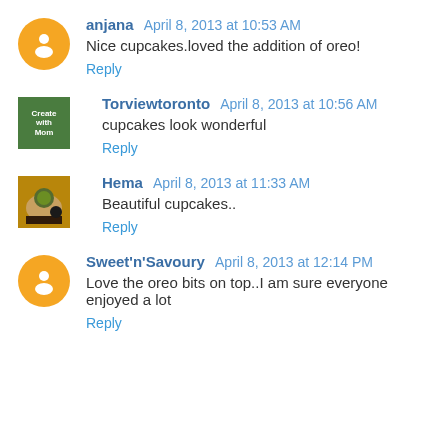anjana April 8, 2013 at 10:53 AM
Nice cupcakes.loved the addition of oreo!
Reply
Torviewtoronto April 8, 2013 at 10:56 AM
cupcakes look wonderful
Reply
Hema April 8, 2013 at 11:33 AM
Beautiful cupcakes..
Reply
Sweet'n'Savoury April 8, 2013 at 12:14 PM
Love the oreo bits on top..I am sure everyone enjoyed a lot
Reply